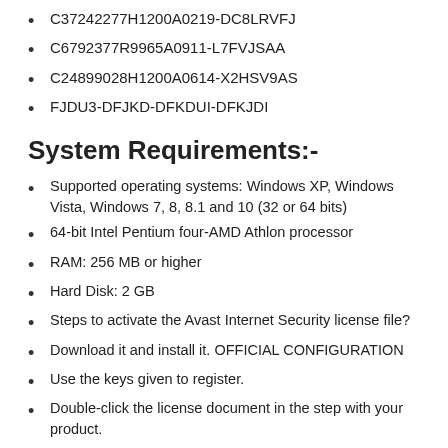C37242277H1200A0219-DC8LRVFJ
C6792377R9965A0911-L7FVJSAA
C24899028H1200A0614-X2HSV9AS
FJDU3-DFJKD-DFKDUI-DFKJDI
System Requirements:-
Supported operating systems: Windows XP, Windows Vista, Windows 7, 8, 8.1 and 10 (32 or 64 bits)
64-bit Intel Pentium four-AMD Athlon processor
RAM: 256 MB or higher
Hard Disk: 2 GB
Steps to activate the Avast Internet Security license file?
Download it and install it. OFFICIAL CONFIGURATION
Use the keys given to register.
Double-click the license document in the step with your product.